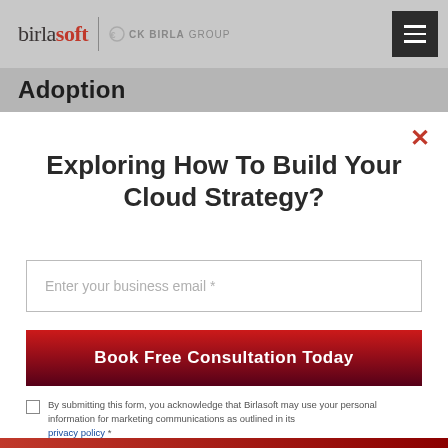birlasoft | CK BIRLA GROUP
Adoption
Exploring How To Build Your Cloud Strategy?
Enter your business email *
Book Free Consultation Today
By submitting this form, you acknowledge that Birlasoft may use your personal information for marketing communications as outlined in its privacy policy *